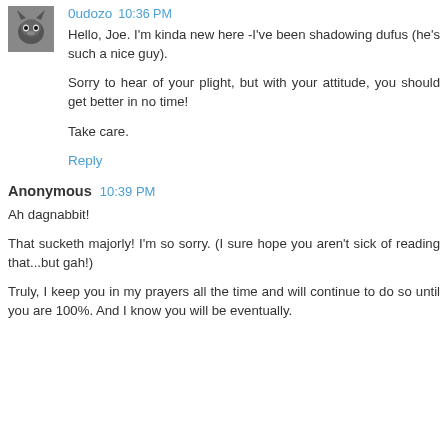0udozo 10:36 PM
Hello, Joe. I'm kinda new here -I've been shadowing dufus (he's such a nice guy).

Sorry to hear of your plight, but with your attitude, you should get better in no time!

Take care.
Reply
Anonymous 10:39 PM
Ah dagnabbit!

That sucketh majorly! I'm so sorry. (I sure hope you aren't sick of reading that...but gah!)

Truly, I keep you in my prayers all the time and will continue to do so until you are 100%. And I know you will be eventually.